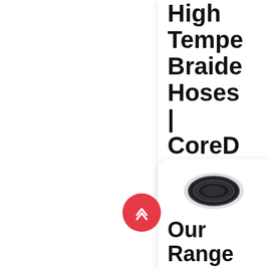High Temperature Braided Hoses | CoreD
High braided...
[Figure (screenshot): A chat/messaging app icon — blue rounded square with two overlapping white speech bubble icons]
[Figure (photo): A coil/roll of dark grey braided silicone hose]
Our Range Of Silicon And Radiat...